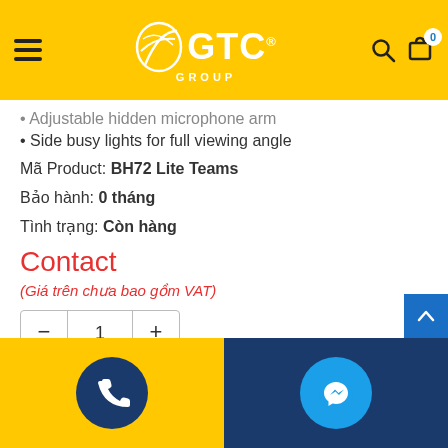GTC GROUP
Adjustable hidden microphone arm
Side busy lights for full viewing angle
Mã Product: BH72 Lite Teams
Bảo hành: 0 tháng
Tình trạng: Còn hàng
Contact
(Giá trên chưa bao gồm VAT)
- 1 +